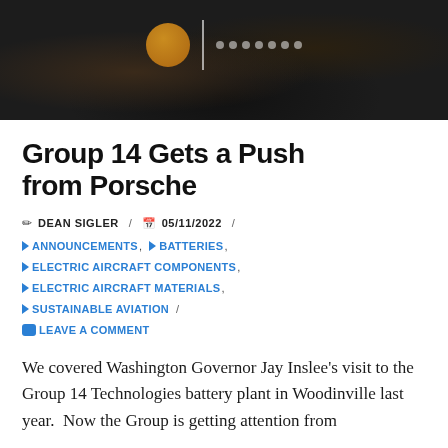[Figure (photo): Dark textured background image (coal/carbon material) with a logo area featuring a circular orange/gold emblem, a vertical white dividing line, and a series of small white dots to the right, suggesting a website header image.]
Group 14 Gets a Push from Porsche
✏ DEAN SIGLER / 📅 05/11/2022 / 🔖 ANNOUNCEMENTS, 🔖 BATTERIES, 🔖 ELECTRIC AIRCRAFT COMPONENTS, 🔖 ELECTRIC AIRCRAFT MATERIALS, 🔖 SUSTAINABLE AVIATION / 💬 LEAVE A COMMENT
We covered Washington Governor Jay Inslee's visit to the Group 14 Technologies battery plant in Woodinville last year.  Now the Group is getting attention from